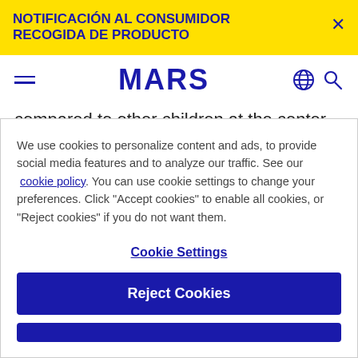NOTIFICACIÓN AL CONSUMIDOR RECOGIDA DE PRODUCTO
[Figure (logo): MARS company logo in dark blue bold uppercase letters]
compared to other children at the center.
We use cookies to personalize content and ads, to provide social media features and to analyze our traffic. See our cookie policy. You can use cookie settings to change your preferences. Click "Accept cookies" to enable all cookies, or "Reject cookies" if you do not want them.
Cookie Settings
Reject Cookies
Accept Cookies